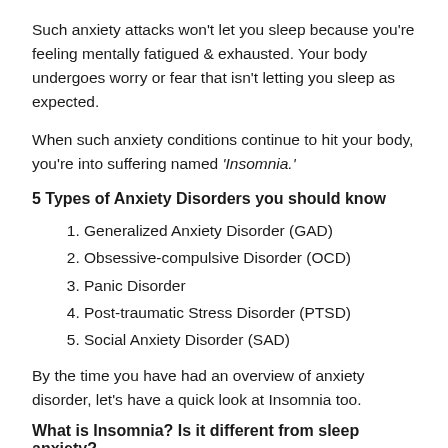Such anxiety attacks won't let you sleep because you're feeling mentally fatigued & exhausted. Your body undergoes worry or fear that isn't letting you sleep as expected.
When such anxiety conditions continue to hit your body, you're into suffering named 'Insomnia.'
5 Types of Anxiety Disorders you should know
Generalized Anxiety Disorder (GAD)
Obsessive-compulsive Disorder (OCD)
Panic Disorder
Post-traumatic Stress Disorder (PTSD)
Social Anxiety Disorder (SAD)
By the time you have had an overview of anxiety disorder, let's have a quick look at Insomnia too.
What is Insomnia? Is it different from sleep anxiety?